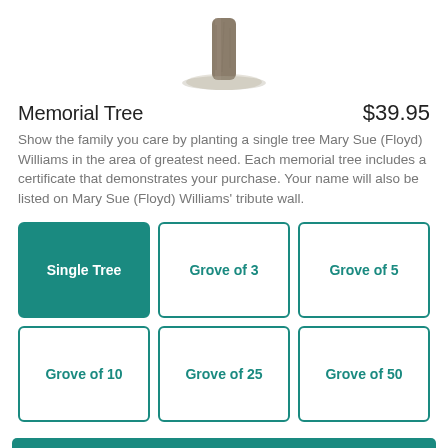[Figure (illustration): Pencil sketch of a tree trunk and base, with branches implied above, on white background]
Memorial Tree
$39.95
Show the family you care by planting a single tree Mary Sue (Floyd) Williams in the area of greatest need. Each memorial tree includes a certificate that demonstrates your purchase. Your name will also be listed on Mary Sue (Floyd) Williams' tribute wall.
Single Tree
Grove of 3
Grove of 5
Grove of 10
Grove of 25
Grove of 50
CONTINUE TO CHECKOUT